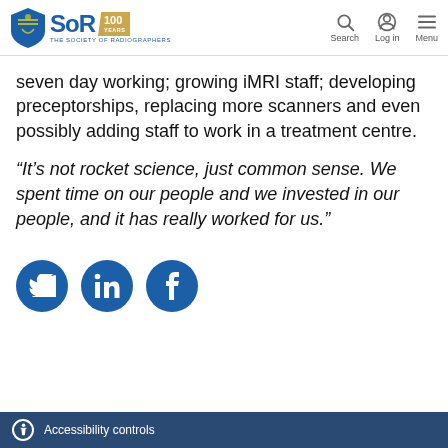SoR 100 YEARS — THE SOCIETY OF RADIOGRAPHERS | Search | Log in | Menu
seven day working; growing iMRI staff; developing preceptorships, replacing more scanners and even possibly adding staff to work in a treatment centre.
“It’s not rocket science, just common sense. We spent time on our people and we invested in our people, and it has really worked for us.”
[Figure (logo): Social media icons: Twitter, LinkedIn, Facebook (dark blue circles)]
Accessibility controls